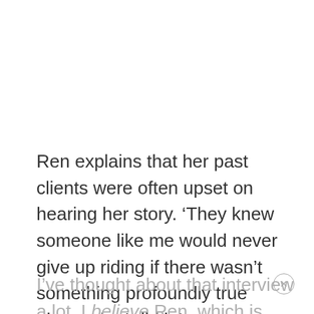Ren explains that her past clients were often upset on hearing her story. ‘They knew someone like me would never give up riding if there wasn’t something profoundly true about why I did it.’
I’ve thought about that interview a lot. I believe Ren, which is why I’ve asked myself